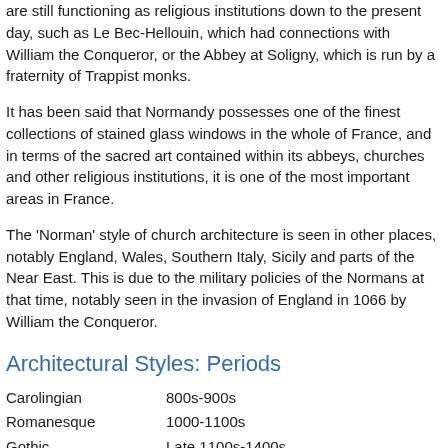are still functioning as religious institutions down to the present day, such as Le Bec-Hellouin, which had connections with William the Conqueror, or the Abbey at Soligny, which is run by a fraternity of Trappist monks.
It has been said that Normandy possesses one of the finest collections of stained glass windows in the whole of France, and in terms of the sacred art contained within its abbeys, churches and other religious institutions, it is one of the most important areas in France.
The 'Norman' style of church architecture is seen in other places, notably England, Wales, Southern Italy, Sicily and parts of the Near East. This is due to the military policies of the Normans at that time, notably seen in the invasion of England in 1066 by William the Conqueror.
Architectural Styles: Periods
Carolingian    800s-900s
Romanesque    1000-1100s
Gothic    Late 1100s-1400s
Renaissance    1400s-1600s